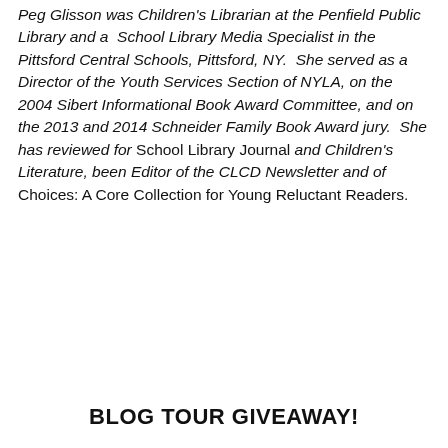Peg Glisson was Children's Librarian at the Penfield Public Library and a School Library Media Specialist in the Pittsford Central Schools, Pittsford, NY. She served as a Director of the Youth Services Section of NYLA, on the 2004 Sibert Informational Book Award Committee, and on the 2013 and 2014 Schneider Family Book Award jury. She has reviewed for School Library Journal and Children's Literature, been Editor of the CLCD Newsletter and of Choices: A Core Collection for Young Reluctant Readers.
BLOG TOUR GIVEAWAY!